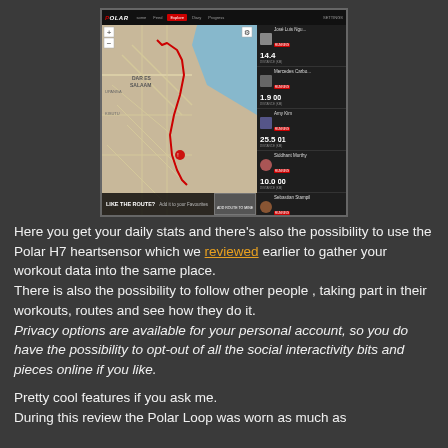[Figure (screenshot): Screenshot of the Polar Flow web application showing a map of a running route in Dar es Salaam area, with a right sidebar listing user activity stats (distances and times), and a bottom bar saying 'LIKE THE ROUTE?']
Here you get your daily stats and there's also the possibility to use the Polar H7 heartsensor which we reviewed earlier to gather your workout data into the same place.
There is also the possibility to follow other people , taking part in their workouts, routes and see how they do it.
Privacy options are available for your personal account, so you do have the possibility to opt-out of all the social interactivity bits and pieces online if you like.
Pretty cool features if you ask me.
During this review the Polar Loop was worn as much as possible during 4 days and it is now charging, but I am not